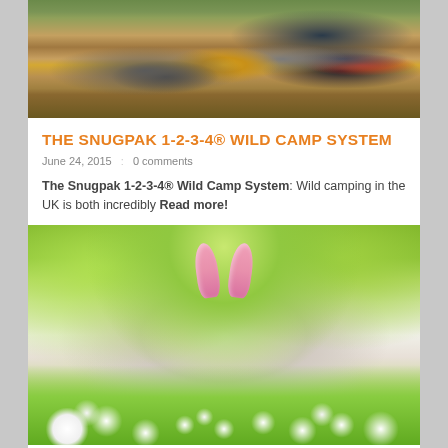[Figure (photo): Overhead view of camping cooking equipment including a pot, camp stove with flame, and other gear on leafy ground]
THE SNUGPAK 1-2-3-4® WILD CAMP SYSTEM
June 24, 2015   :   0 comments
The Snugpak 1-2-3-4® Wild Camp System: Wild camping in the UK is both incredibly Read more!
[Figure (photo): Young toddler girl wearing pink bunny ears headband, smiling, surrounded by white flowers in a field with green trees in background]